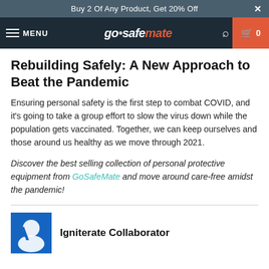Buy 2 Of Any Product, Get 20% Off
[Figure (screenshot): GoSafeMate website navigation bar with menu, logo, search icon, and cart button showing 0 items]
Rebuilding Safely: A New Approach to Beat the Pandemic
Ensuring personal safety is the first step to combat COVID, and it's going to take a group effort to slow the virus down while the population gets vaccinated. Together, we can keep ourselves and those around us healthy as we move through 2021.
Discover the best selling collection of personal protective equipment from GoSafeMate and move around care-free amidst the pandemic!
Igniterate Collaborator